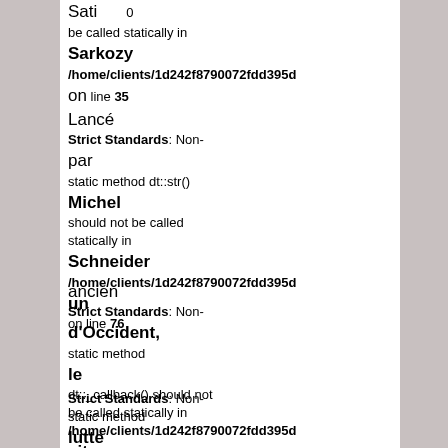Sarkozy
be called statically in /home/clients/1d242f8790072fdd395d on line 35
Lancé
Strict Standards: Non-static method dt::str() should not be called statically in /home/clients/1d242f8790072fdd395d on line 76
par
Michel
Schneider
un
ancien
Strict Standards: Non-static method dt::_callback() should not be called statically in /home/clients/1d242f8790072fdd395d on line 35
d'Occident,
le
site
de
Strict Standards: Non-static method dt::_callback() should not be called statically in /home/clients/1d242f8790072fdd395d on line 35
la
lutte
nationale
toute
candidature
Strict Standards: Non-static method dt::str() should not be called statically in /home/clients/1d242f8790072fdd395d on line 76
de
Nagy
Bocsa
alias
Sarkozy